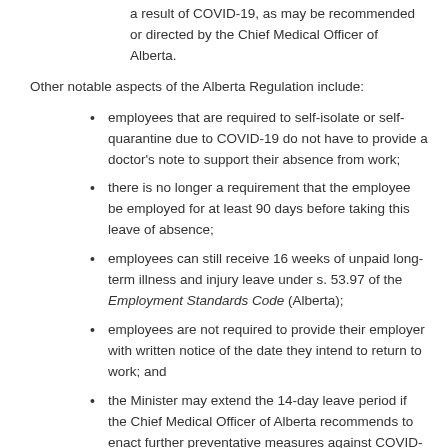a result of COVID-19, as may be recommended or directed by the Chief Medical Officer of Alberta.
Other notable aspects of the Alberta Regulation include:
employees that are required to self-isolate or self-quarantine due to COVID-19 do not have to provide a doctor's note to support their absence from work;
there is no longer a requirement that the employee be employed for at least 90 days before taking this leave of absence;
employees can still receive 16 weeks of unpaid long-term illness and injury leave under s. 53.97 of the Employment Standards Code (Alberta);
employees are not required to provide their employer with written notice of the date they intend to return to work; and
the Minister may extend the 14-day leave period if the Chief Medical Officer of Alberta recommends to enact further preventative measures against COVID-19.
The Alberta Regulation is retroactively dated to March 5,